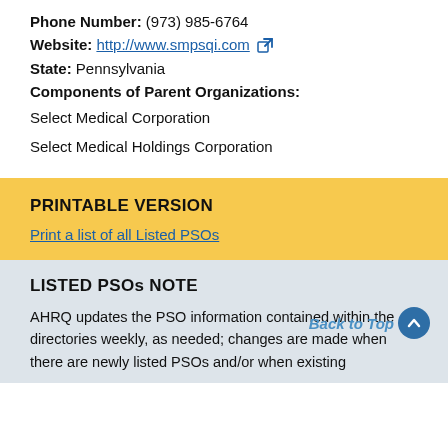Phone Number: (973) 985-6764
Website: http://www.smpsqi.com
State: Pennsylvania
Components of Parent Organizations:
Select Medical Corporation
Select Medical Holdings Corporation
PRINTABLE VERSION
Print a list of all Listed PSOs
LISTED PSOs NOTE
AHRQ updates the PSO information contained within the directories weekly, as needed; changes are made when there are newly listed PSOs and/or when existing